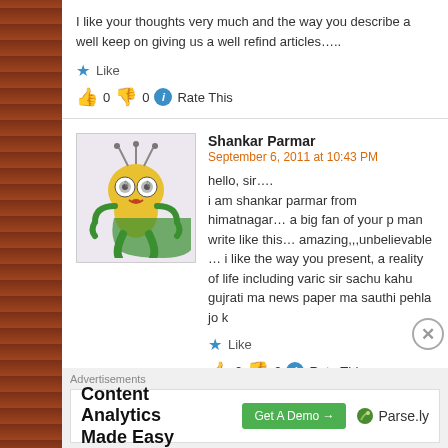I like your thoughts very much and the way you describe a well keep on giving us a well refind articles.....
★ Like
👍 0 👎 0 ℹ Rate This
Shankar Parmar
September 6, 2011 at 10:43 PM
hello, sir….
i am shankar parmar from himatnagar… a big fan of your p man write like this… amazing,,,unbelievable
… i like the way you present, a reality of life including varic sir sachu kahu gujrati ma news paper ma sauthi pehla jo k
★ Like
👍 0 👎 0 ℹ Rate This
Advertisements
Content Analytics Made Easy
Get A Demo →
🌿 Parse.ly